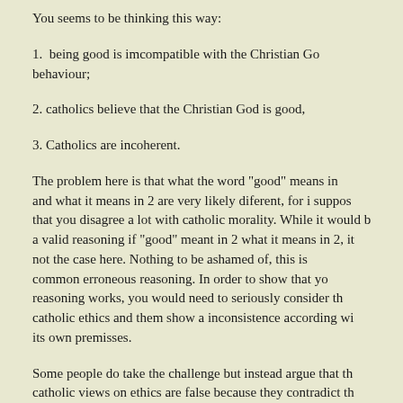You seems to be thinking this way:
1. being good is imcompatible with the Christian Go behaviour;
2. catholics believe that the Christian God is good,
3. Catholics are incoherent.
The problem here is that what the word "good" means in and what it means in 2 are very likely diferent, for i suppos that you disagree a lot with catholic morality. While it would b a valid reasoning if "good" meant in 2 what it means in 2, it not the case here. Nothing to be ashamed of, this is common erroneous reasoning. In order to show that yo reasoning works, you would need to seriously consider th catholic ethics and them show a inconsistence according wi its own premisses.
Some people do take the challenge but instead argue that th catholic views on ethics are false because they contradict th correct view on ethics but that would not be the corre strategy, for it at most would show that catholics are wron about ethics, not that we are incoherent. So just respondi